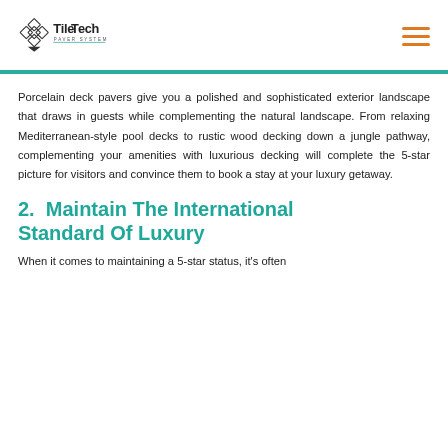[Figure (logo): TileTech Paver System logo with diamond tile graphic and company name]
Porcelain deck pavers give you a polished and sophisticated exterior landscape that draws in guests while complementing the natural landscape. From relaxing Mediterranean-style pool decks to rustic wood decking down a jungle pathway, complementing your amenities with luxurious decking will complete the 5-star picture for visitors and convince them to book a stay at your luxury getaway.
2. Maintain The International Standard Of Luxury
When it comes to maintaining a 5-star status, it's often...